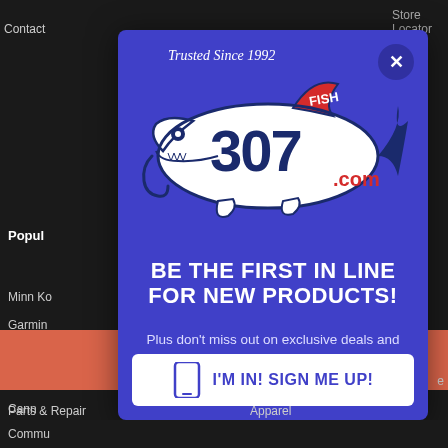Store Locator & Hours
Contact
Popular
Minn Ko...
Garmin...
Anchor...
Blue Se...
Cannon...
[Figure (screenshot): Fish307.com popup modal overlay on a dark website background. The modal has a blue/purple background with a fish shark logo reading 'Fish307.com' and tagline 'Trusted Since 1992'. Text reads 'BE THE FIRST IN LINE FOR NEW PRODUCTS! Plus don't miss out on exclusive deals and sales!' with a white 'I'M IN! SIGN ME UP!' button at the bottom. A close (X) button is in the top right corner of the modal.]
BE THE FIRST IN LINE FOR NEW PRODUCTS!
Plus don't miss out on exclusive deals and sales!
I'M IN! SIGN ME UP!
Commu...
Parts & Repair
Apparel